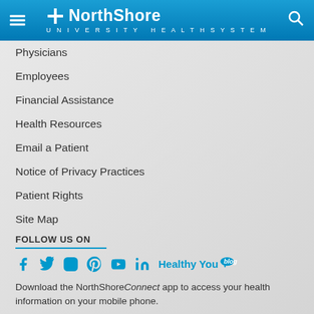[Figure (logo): NorthShore University HealthSystem logo in white on blue header background with hamburger menu icon on left and search icon on right]
Physicians
Employees
Financial Assistance
Health Resources
Email a Patient
Notice of Privacy Practices
Patient Rights
Site Map
FOLLOW US ON
[Figure (infographic): Social media icons: Facebook, Twitter, Instagram, Pinterest, YouTube, LinkedIn, and Healthy You blog badge in cyan/teal color]
Download the NorthShore Connect app to access your health information on your mobile phone.
[Figure (screenshot): Two app download buttons: Download on the App Store (Apple) and GET IT ON Google Play, both with black rounded rectangle backgrounds]